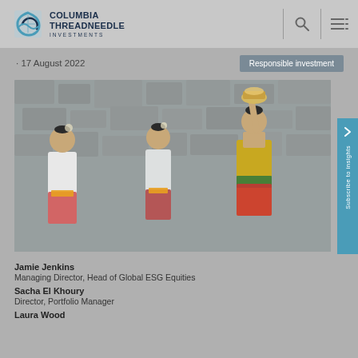Columbia Threadneedle Investments
17 August 2022
Responsible investment
[Figure (photo): Three women in traditional Balinese dress walking in procession, one balancing an offering on her head, with a textured grey wall/waterfall background]
Jamie Jenkins
Managing Director, Head of Global ESG Equities
Sacha El Khoury
Director, Portfolio Manager
Laura Wood